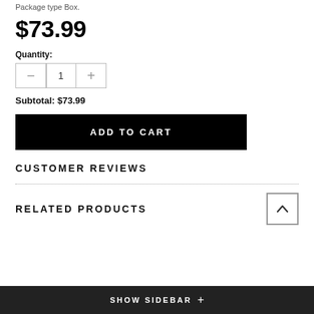Package type Box.
$73.99
Quantity:
Subtotal: $73.99
ADD TO CART
CUSTOMER REVIEWS
RELATED PRODUCTS
SHOW SIDEBAR +